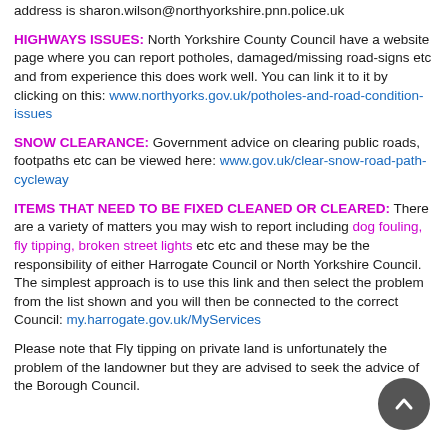address is sharon.wilson@northyorkshire.pnn.police.uk
HIGHWAYS ISSUES: North Yorkshire County Council have a website page where you can report potholes, damaged/missing road-signs etc and from experience this does work well. You can link it to it by clicking on this: www.northyorks.gov.uk/potholes-and-road-condition-issues
SNOW CLEARANCE: Government advice on clearing public roads, footpaths etc can be viewed here: www.gov.uk/clear-snow-road-path-cycleway
ITEMS THAT NEED TO BE FIXED CLEANED OR CLEARED: There are a variety of matters you may wish to report including dog fouling, fly tipping, broken street lights etc etc and these may be the responsibility of either Harrogate Council or North Yorkshire Council. The simplest approach is to use this link and then select the problem from the list shown and you will then be connected to the correct Council: my.harrogate.gov.uk/MyServices
Please note that Fly tipping on private land is unfortunately the problem of the landowner but they are advised to seek the advice of the Borough Council.